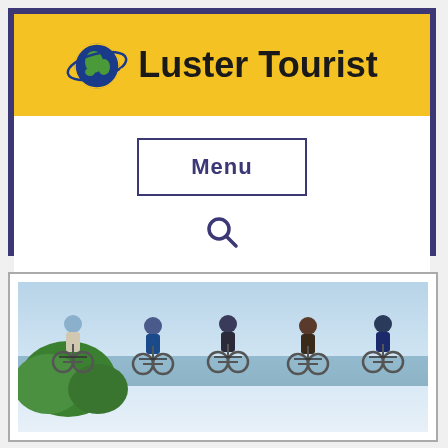[Figure (logo): Luster Tourist logo with globe icon and brand name in the yellow header bar]
Menu
[Figure (other): Search icon (magnifying glass)]
[Figure (photo): Five cyclists wearing helmets standing with bikes near a waterfront with trees and blue sky in the background]